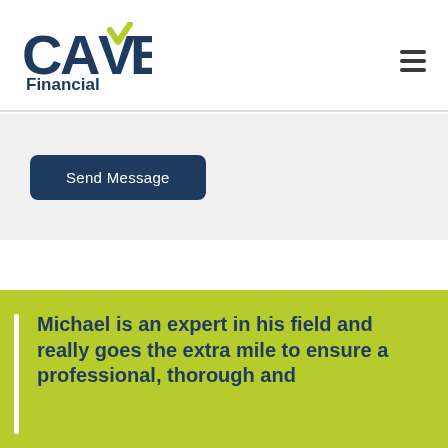CAVE Financial
Send Message
Michael is an expert in his field and really goes the extra mile to ensure a professional, thorough and